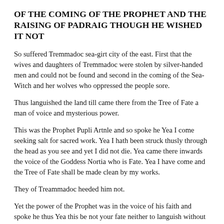OF THE COMING OF THE PROPHET AND THE RAISING OF PADRAIG THOUGH HE WISHED IT NOT
So suffered Tremmadoc sea-girt city of the east. First that the wives and daughters of Tremmadoc were stolen by silver-handed men and could not be found and second in the coming of the Sea-Witch and her wolves who oppressed the people sore.
Thus languished the land till came there from the Tree of Fate a man of voice and mysterious power.
This was the Prophet Pupli Artnle and so spoke he Yea I come seeking salt for sacred work. Yea I hath been struck thusly through the head as you see and yet I did not die. Yea came there inwards the voice of the Goddess Nortia who is Fate. Yea I have come and the Tree of Fate shall be made clean by my works.
They of Treammadoc heeded him not.
Yet the power of the Prophet was in the voice of his faith and spoke he thus Yea this be not your fate neither to languish without wives or to suffer under the Sea Witch but heed the Gospel of